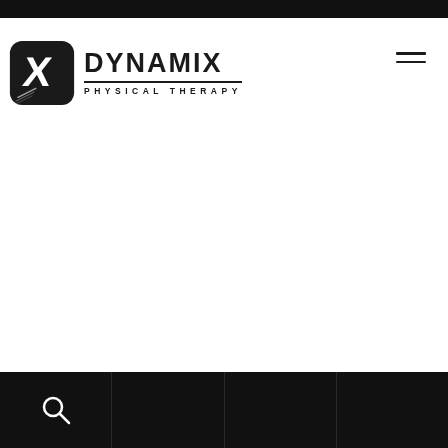[Figure (logo): Dynamix Physical Therapy logo with X icon and brand name]
Milan, Tenn. - Dynamix Physical Therapy